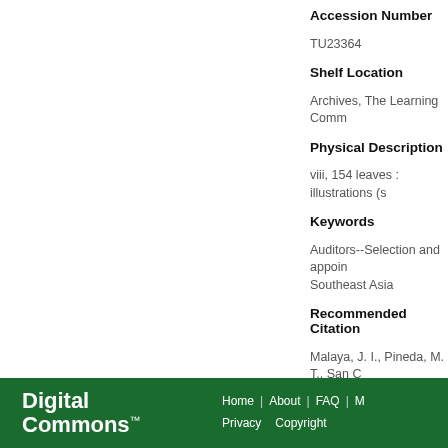Accession Number
TU23364
Shelf Location
Archives, The Learning Comm
Physical Description
viii, 154 leaves : illustrations (s
Keywords
Auditors--Selection and appoin
Southeast Asia
Recommended Citation
Malaya, J. I., Pineda, M. T., San C corporate governance, and cultur Philippines, Vietnam, Thailand, a https://animorepository.dlsu.edu.p
Digital Commons™  Home | About | FAQ | M Privacy  Copyright